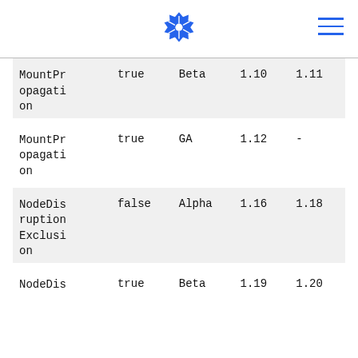Kubernetes logo and navigation menu
| MountPropagation | true | Beta | 1.10 | 1.11 |
| MountPropagation | true | GA | 1.12 | - |
| NodeDisruptionExclusion | false | Alpha | 1.16 | 1.18 |
| NodeDis... | true | Beta | 1.19 | 1.20 |